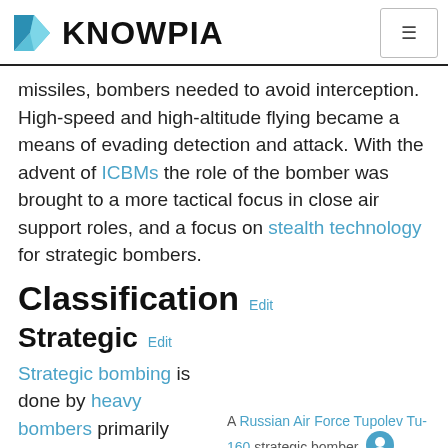KNOWPIA
missiles, bombers needed to avoid interception. High-speed and high-altitude flying became a means of evading detection and attack. With the advent of ICBMs the role of the bomber was brought to a more tactical focus in close air support roles, and a focus on stealth technology for strategic bombers.
Classification  Edit
Strategic  Edit
Strategic bombing is done by heavy bombers primarily designed for long-range bombing
A Russian Air Force Tupolev Tu-160 strategic bomber